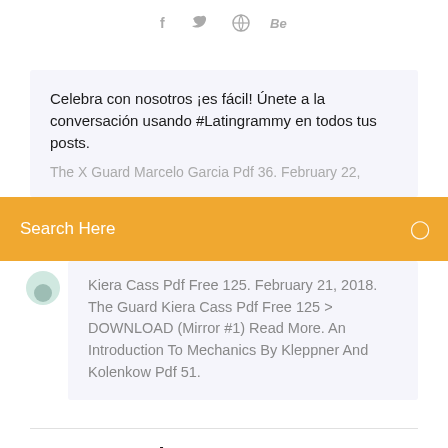f  Twitter  Behance [social icons]
Celebra con nosotros ¡es fácil! Únete a la conversación usando #Latingrammy en todos tus posts.
The X Guard Marcelo Garcia Pdf 36. February 22,
Search Here
Kiera Cass Pdf Free 125. February 21, 2018. The Guard Kiera Cass Pdf Free 125 > DOWNLOAD (Mirror #1) Read More. An Introduction To Mechanics By Kleppner And Kolenkow Pdf 51.
Leave a Reply